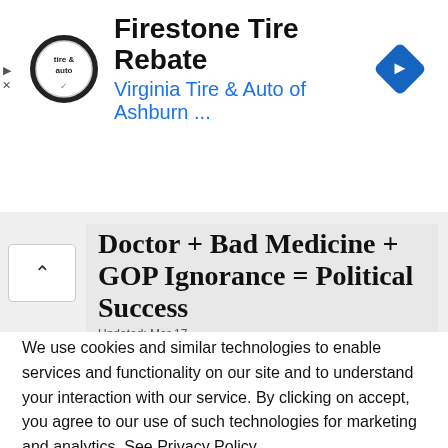[Figure (screenshot): Ad banner for Firestone Tire Rebate by Virginia Tire & Auto of Ashburn with logo and blue navigation arrow icon]
Firestone Tire Rebate
Virginia Tire & Auto of Ashburn ...
[Figure (screenshot): Article preview on grey background with headline: Doctor + Bad Medicine + GOP Ignorance = Political Success, Updated: Mar 17]
We use cookies and similar technologies to enable services and functionality on our site and to understand your interaction with our service. By clicking on accept, you agree to our use of such technologies for marketing and analytics. See Privacy Policy
Decline All
Accept
Cookie Settings